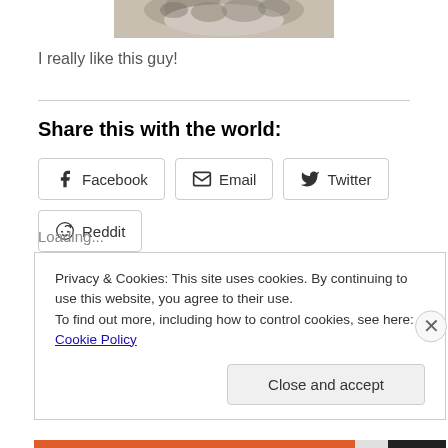[Figure (photo): Partial photo of a cat or animal, cropped at the top of the page]
I really like this guy!
Share this with the world:
Facebook  Email  Twitter  Reddit (share buttons)
Loading...
Privacy & Cookies: This site uses cookies. By continuing to use this website, you agree to their use.
To find out more, including how to control cookies, see here: Cookie Policy
Close and accept